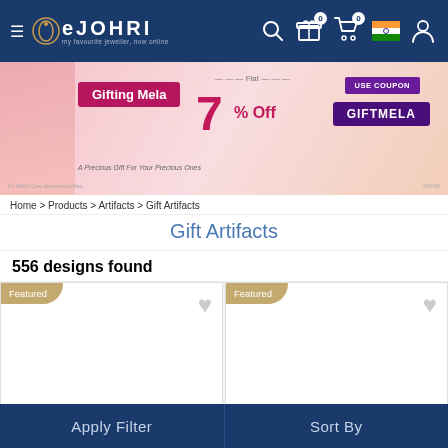eJOHRI - my favourite jeweller, now online
[Figure (photo): eJOHRI Gifting Mela promotional banner - Flat 7% Off, Use Coupon GIFTMELA, A Precious Gift For Your Precious Ones]
Home > Products > Artifacts > Gift Artifacts
Gift Artifacts
556 designs found
[Figure (photo): Product card with Featured tag and heart icon - left card]
[Figure (photo): Product card with Featured tag and heart icon - right card]
Apply Filter
Sort By